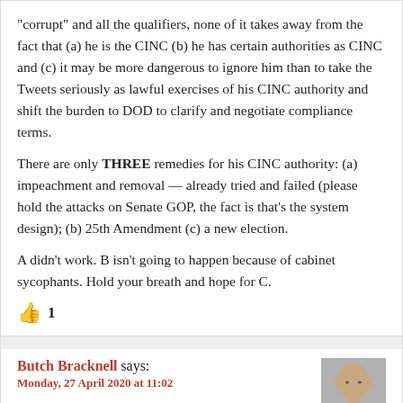“corrupt” and all the qualifiers, none of it takes away from the fact that (a) he is the CINC (b) he has certain authorities as CINC and (c) it may be more dangerous to ignore him than to take the Tweets seriously as lawful exercises of his CINC authority and shift the burden to DOD to clarify and negotiate compliance terms.

There are only THREE remedies for his CINC authority: (a) impeachment and removal — already tried and failed (please hold the attacks on Senate GOP, the fact is that’s the system design); (b) 25th Amendment (c) a new election.

A didn’t work. B isn’t going to happen because of cabinet sycophants. Hold your breath and hope for C.
1 like
Butch Bracknell says: Monday, 27 April 2020 at 11:02
[Figure (photo): Headshot photo of Butch Bracknell, a bald man in a dark suit]